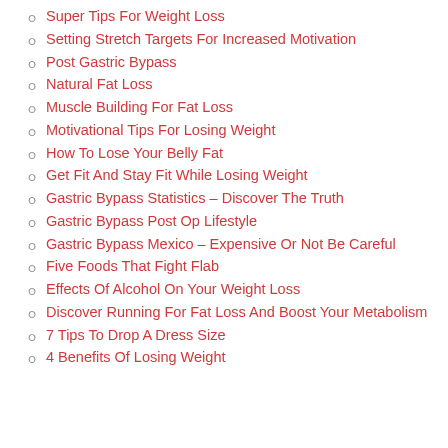Super Tips For Weight Loss
Setting Stretch Targets For Increased Motivation
Post Gastric Bypass
Natural Fat Loss
Muscle Building For Fat Loss
Motivational Tips For Losing Weight
How To Lose Your Belly Fat
Get Fit And Stay Fit While Losing Weight
Gastric Bypass Statistics – Discover The Truth
Gastric Bypass Post Op Lifestyle
Gastric Bypass Mexico – Expensive Or Not Be Careful
Five Foods That Fight Flab
Effects Of Alcohol On Your Weight Loss
Discover Running For Fat Loss And Boost Your Metabolism
7 Tips To Drop A Dress Size
4 Benefits Of Losing Weight